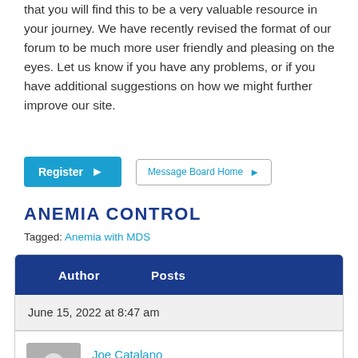that you will find this to be a very valuable resource in your journey. We have recently revised the format of our forum to be much more user friendly and pleasing on the eyes. Let us know if you have any problems, or if you have additional suggestions on how we might further improve our site.
[Figure (screenshot): Register button (blue) and Message Board Home button (white/outlined)]
ANEMIA CONTROL
Tagged: Anemia with MDS
| Author | Posts |
| --- | --- |
| June 15, 2022 at 8:47 am |  |
| Joe Catalano
Participant |  |
Joe Catalano
Participant